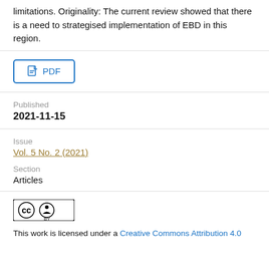limitations. Originality: The current review showed that there is a need to strategised implementation of EBD in this region.
[Figure (other): PDF download button with document icon]
Published
2021-11-15
Issue
Vol. 5 No. 2 (2021)
Section
Articles
[Figure (logo): Creative Commons Attribution (CC BY) license badge]
This work is licensed under a Creative Commons Attribution 4.0